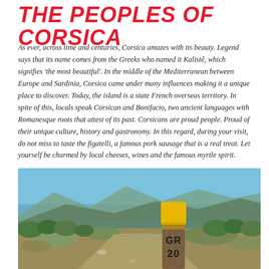THE PEOPLES OF CORSICA
As ever, across time and centuries, Corsica amazes with its beauty. Legend says that its name comes from the Greeks who named it Kalistê, which signifies 'the most beautiful'. In the middle of the Mediterranean between Europe and Sardinia, Corsica came under many influences making it a unique place to discover. Today, the island is a state French overseas territory. In spite of this, locals speak Corsican and Bonifacio, two ancient languages with Romanesque roots that attest of its past. Corsicans are proud people. Proud of their unique culture, history and gastronomy. In this regard, during your visit, do not miss to taste the figatelli, a famous pork sausage that is a real treat. Let yourself be charmed by local cheeses, wines and the famous myrtle spirit.
[Figure (photo): Outdoor photo of a GR 20 trail marker post with yellow and brown paint, set against a landscape with Mediterranean scrub vegetation and mountains in the background under a blue sky.]